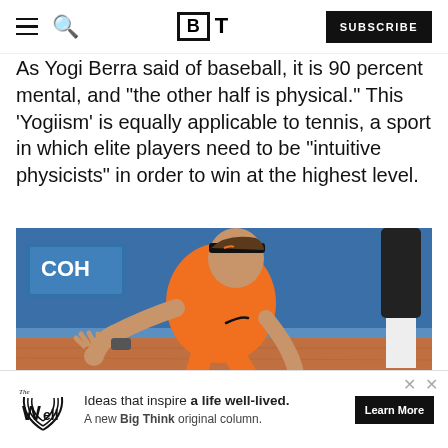BT — Subscribe
As Yogi Berra said of baseball, it is 90 percent mental, and "the other half is physical." This 'Yogiism' is equally applicable to tennis, a sport in which elite players need to be "intuitive physicists" in order to win at the highest level.
[Figure (photo): Tennis player in orange shirt lunging low on clay court to hit a shot, with blue sponsor boards in the background]
Ideas that inspire a life well-lived. A new Big Think original column. Learn More